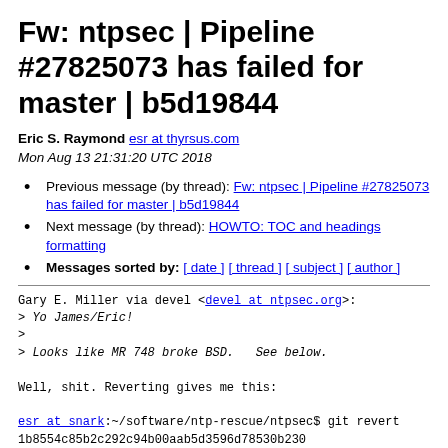Fw: ntpsec | Pipeline #27825073 has failed for master | b5d19844
Eric S. Raymond esr at thyrsus.com
Mon Aug 13 21:31:20 UTC 2018
Previous message (by thread): Fw: ntpsec | Pipeline #27825073 has failed for master | b5d19844
Next message (by thread): HOWTO: TOC and headings formatting
Messages sorted by: [ date ] [ thread ] [ subject ] [ author ]
Gary E. Miller via devel <devel at ntpsec.org>:
> Yo James/Eric!
>
> Looks like MR 748 broke BSD.   See below.

Well, shit. Reverting gives me this:

esr at snark:~/software/ntp-rescue/ntpsec$ git revert 1b8554c85b2c292c94b00aab5d3596d78530b230